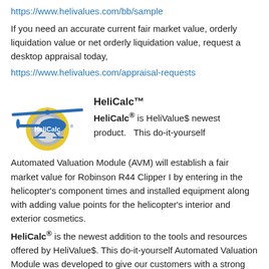https://www.helivalues.com/bb/sample
If you need an accurate current fair market value, orderly liquidation value or net orderly liquidation value, request a desktop appraisal today,
https://www.helivalues.com/appraisal-requests
[Figure (logo): HeliCalc logo: blue helicopter silhouette over a circular yellow/grey emblem with 'HeliCalc' text and registered trademark symbol]
HeliCalc™
HeliCalc® is HeliValue$ newest product.  This do-it-yourself Automated Valuation Module (AVM) will establish a fair market value for Robinson R44 Clipper I by entering in the helicopter's component times and installed equipment along with adding value points for the helicopter's interior and exterior cosmetics.
HeliCalc® is the newest addition to the tools and resources offered by HeliValue$. This do-it-yourself Automated Valuation Module was developed to give our customers with a strong background in